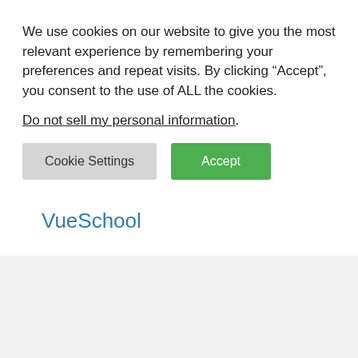We use cookies on our website to give you the most relevant experience by remembering your preferences and repeat visits. By clicking “Accept”, you consent to the use of ALL the cookies.
Do not sell my personal information.
Cookie Settings
Accept
Video2brain
VueSchool